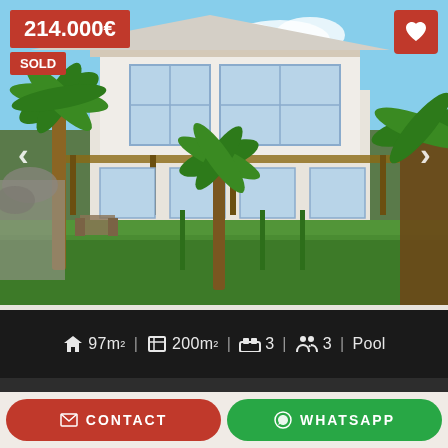[Figure (photo): Exterior photo of a white villa with large windows and palm trees in the garden. Property is shown with green lawn, pergola, and blue sky. Photo has navigation arrows on left and right sides.]
214.000€
SOLD
🏠 97m² | 🗺 200m² | 🛏 3 | 👥 3 | Pool
CONTACT
WHATSAPP